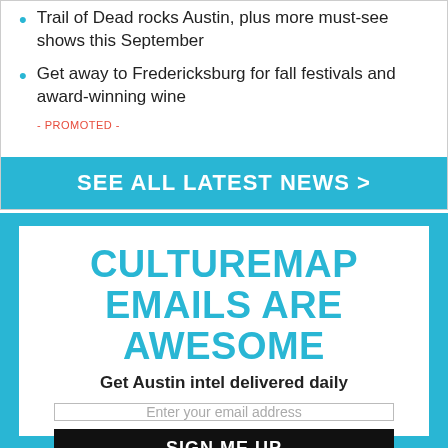Trail of Dead rocks Austin, plus more must-see shows this September
Get away to Fredericksburg for fall festivals and award-winning wine
- PROMOTED -
SEE ALL LATEST NEWS >
CULTUREMAP EMAILS ARE AWESOME
Get Austin intel delivered daily
Enter your email address
SIGN ME UP